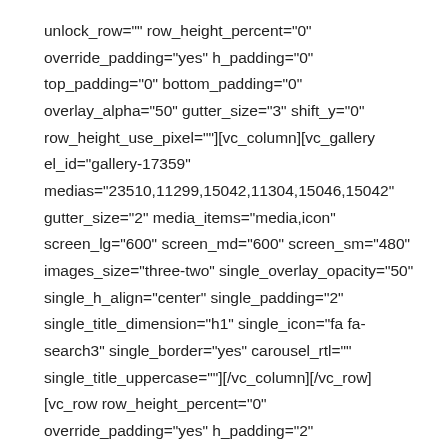unlock_row="" row_height_percent="0" override_padding="yes" h_padding="0" top_padding="0" bottom_padding="0" overlay_alpha="50" gutter_size="3" shift_y="0" row_height_use_pixel=""][vc_column][vc_gallery el_id="gallery-17359" medias="23510,11299,15042,11304,15046,15042" gutter_size="2" media_items="media,icon" screen_lg="600" screen_md="600" screen_sm="480" images_size="three-two" single_overlay_opacity="50" single_h_align="center" single_padding="2" single_title_dimension="h1" single_icon="fa fa-search3" single_border="yes" carousel_rtl="" single_title_uppercase=""][/vc_column][/vc_row][vc_row row_height_percent="0" override_padding="yes" h_padding="2" top_padding="3" bottom_padding="3" overlay_alpha="100" gutter_size="3" shift_y="0" row_height_use_pixel=""][vc_column column_width_use_pixel="yes" align_horizontal="align_center" font_family="font-134980"